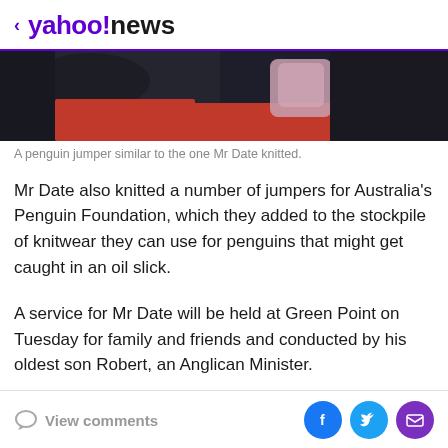< yahoo!news
[Figure (photo): Close-up photo of a knitted penguin jumper in pink/mauve tones on a dark background with a red item visible below.]
A penguin jumper similar to the one Mr Date knitted.
Mr Date also knitted a number of jumpers for Australia's Penguin Foundation, which they added to the stockpile of knitwear they can use for penguins that might get caught in an oil slick.
A service for Mr Date will be held at Green Point on Tuesday for family and friends and conducted by his oldest son Robert, an Anglican Minister.
View comments